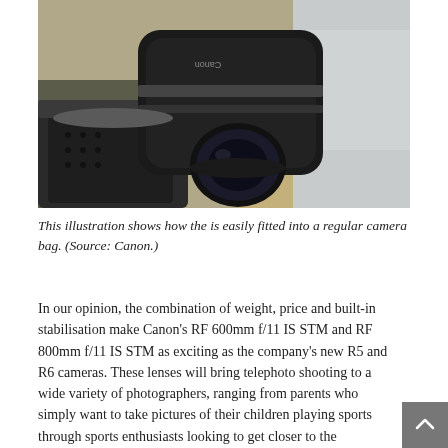[Figure (photo): A person removing or placing a large Canon telephoto lens (Canon RF 600mm or 800mm f/11 IS STM) into a camera bag, set against a background of dry grass and outdoor scenery. The lens is black and large, and the person is wearing light-colored clothing.]
This illustration shows how the  is easily fitted into a regular camera bag. (Source: Canon.)
In our opinion, the combination of weight, price and built-in stabilisation make Canon's RF 600mm f/11 IS STM and RF 800mm f/11 IS STM as exciting as the company's new R5 and R6 cameras. These lenses will bring telephoto shooting to a wide variety of photographers, ranging from parents who simply want to take pictures of their children playing sports through sports enthusiasts looking to get closer to the